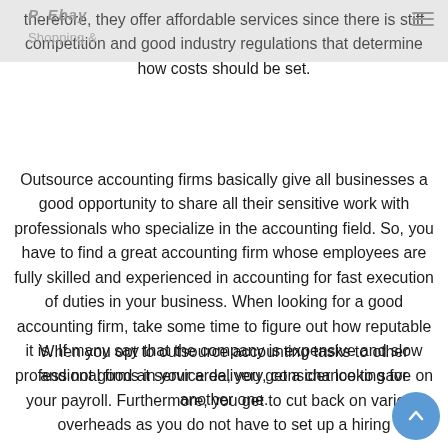P. Ebay  Shopping &
therefore, they offer affordable services since there is stiff competition and good industry regulations that determine how costs should be set.
Outsource accounting firms basically give all businesses a good opportunity to share all their sensitive work with professionals who specialize in the accounting field. So, you have to find a great accounting firm whose employees are fully skilled and experienced in accounting for fast execution of duties in your business. When looking for a good accounting firm, take some time to figure out how reputable it is. If many say that the company is expensive and slow and not good at service delivery, consider looking for another one.
When you opt to outsource accounting tasks to other professional firms in your area, you get a chance to save on your payroll. Furthermore, you get to cut back on various overheads as you do not have to set up a hiring